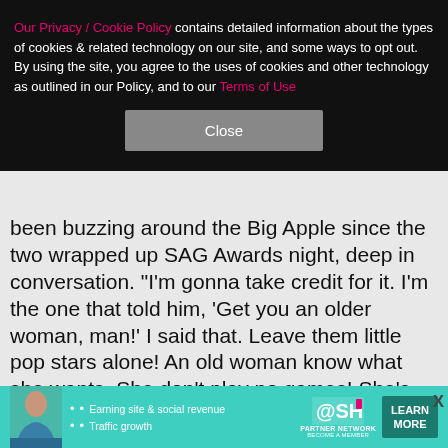Our Privacy / Cookie Policy contains detailed information about the types of cookies & related technology on our site, and some ways to opt out. By using the site, you agree to the uses of cookies and other technology as outlined in our Policy, and to our Terms of Use
Close
been buzzing around the Big Apple since the two wrapped up SAG Awards night, deep in conversation. "I'm gonna take credit for it. I'm the one that told him, 'Get you an older woman, man!' I said that. Leave them little pop stars alone! An old woman know what she wants. She don't play no games! She's serious… That's what I'm talking about. Get you somebody older," he joked. As for Ariana? "Them little pop stars, they don't know!" Nick cracked. "They getting Japanese menus
[Figure (infographic): Advertisement banner for SHE PARTNER NETWORK - Earning site & social revenue, Traffic growth, with a LEARN MORE button]